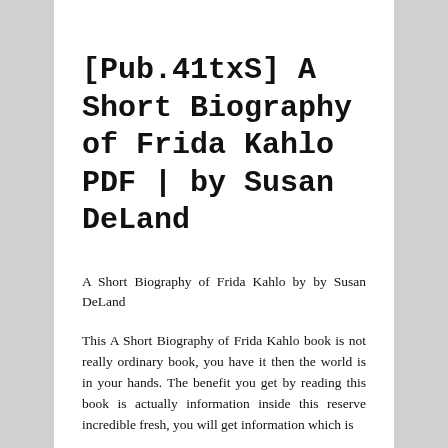[Pub.41txS] A Short Biography of Frida Kahlo PDF | by Susan DeLand
A Short Biography of Frida Kahlo by by Susan DeLand
This A Short Biography of Frida Kahlo book is not really ordinary book, you have it then the world is in your hands. The benefit you get by reading this book is actually information inside this reserve incredible fresh, you will get information which is